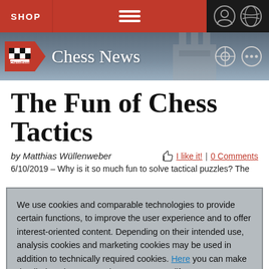SHOP
[Figure (screenshot): Chess News website banner with logo, rook silhouette, and navigation icons]
The Fun of Chess Tactics
by Matthias Wüllenweber   👍 I like it! | 0 Comments
6/10/2019 – Why is it so much fun to solve tactical puzzles? The
We use cookies and comparable technologies to provide certain functions, to improve the user experience and to offer interest-oriented content. Depending on their intended use, analysis cookies and marketing cookies may be used in addition to technically required cookies. Here you can make detailed settings or revoke your consent (if necessary partially) with effect for the future. Further information can be found in our data protection declaration.